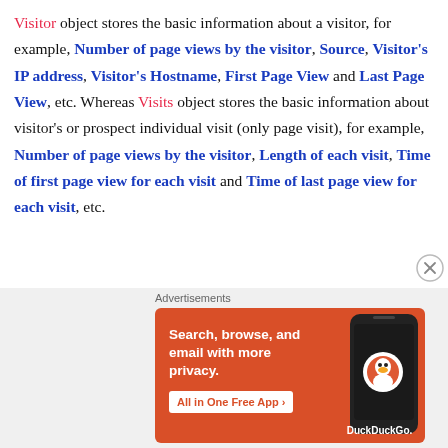Visitor object stores the basic information about a visitor, for example, Number of page views by the visitor, Source, Visitor's IP address, Visitor's Hostname, First Page View and Last Page View, etc. Whereas Visits object stores the basic information about visitor's or prospect individual visit (only page visit), for example, Number of page views by the visitor, Length of each visit, Time of first page view for each visit and Time of last page view for each visit, etc.
[Figure (other): DuckDuckGo advertisement banner: orange background with text 'Search, browse, and email with more privacy. All in One Free App' and a phone image with DuckDuckGo logo.]